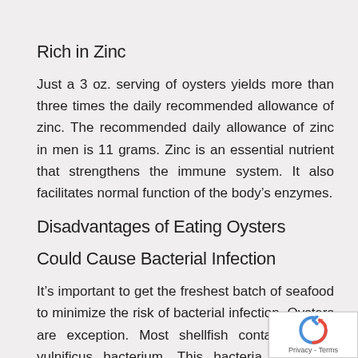Rich in Zinc
Just a 3 oz. serving of oysters yields more than three times the daily recommended allowance of zinc. The recommended daily allowance of zinc in men is 11 grams. Zinc is an essential nutrient that strengthens the immune system. It also facilitates normal function of the body’s enzymes.
Disadvantages of Eating Oysters
Could Cause Bacterial Infection
It’s important to get the freshest batch of seafood to minimize the risk of bacterial infection. Oysters are exception. Most shellfish contains Vibrio vulnificus bacterium. This bacteria thrives in warm coastal waters